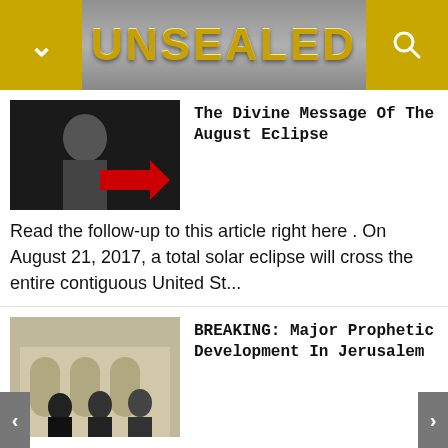UNSEALED
The Divine Message Of The August Eclipse
Read the follow-up to this article right here . On August 21, 2017, a total solar eclipse will cross the entire contiguous United St...
BREAKING: Major Prophetic Development In Jerusalem
I'm not sure how to convey to you both the seriousness and awesomeness of what may be transpiring in Israel.  In short, the Jord...
Israel Under Attack From Gaza
Following the death of a top commander of the Islamic Jihad, Israel has been under a massive rocket barrage from